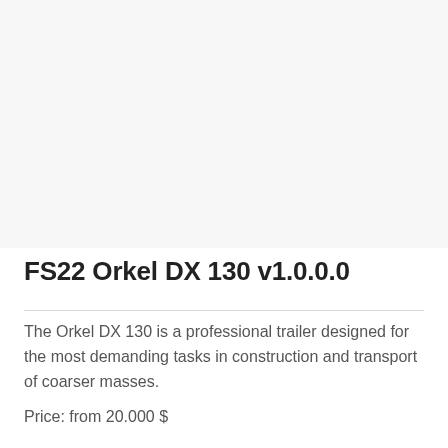[Figure (photo): Blank/white image area placeholder for FS22 Orkel DX 130 product photo]
FS22 Orkel DX 130 v1.0.0.0
The Orkel DX 130 is a professional trailer designed for the most demanding tasks in construction and transport of coarser masses.
Price: from 20.000 $